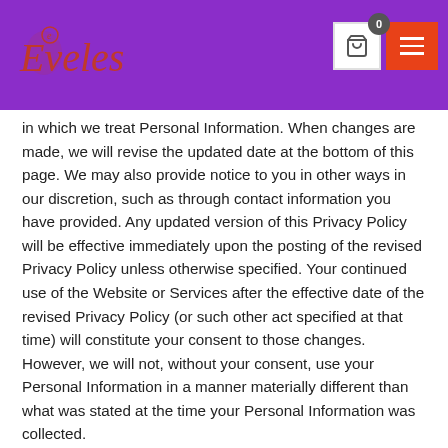Eveles — website header with logo, cart button (0 items), and menu button
in which we treat Personal Information. When changes are made, we will revise the updated date at the bottom of this page. We may also provide notice to you in other ways in our discretion, such as through contact information you have provided. Any updated version of this Privacy Policy will be effective immediately upon the posting of the revised Privacy Policy unless otherwise specified. Your continued use of the Website or Services after the effective date of the revised Privacy Policy (or such other act specified at that time) will constitute your consent to those changes. However, we will not, without your consent, use your Personal Information in a manner materially different than what was stated at the time your Personal Information was collected.
Acceptance of this policy